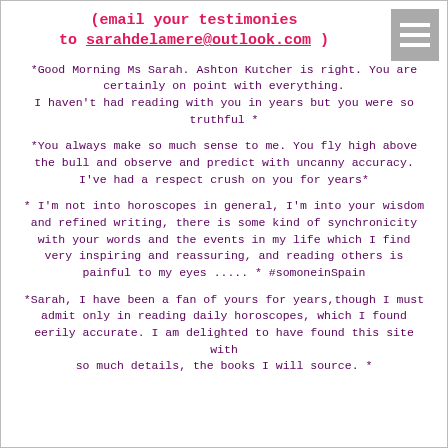(email your testimonies to sarahdelamere@outlook.com )
*Good Morning Ms Sarah. Ashton Kutcher is right. You are certainly on point with everything. I haven't had reading with you in years but you were so truthful *
*You always make so much sense to me. You fly high above the bull and observe and predict with uncanny accuracy. I've had a respect crush on you for years*
* I'm not into horoscopes in general, I'm into your wisdom and refined writing, there is some kind of synchronicity with your words and the events in my life which I find very inspiring and reassuring, and reading others is painful to my eyes ..... * #somoneinSpain
*Sarah, I have been a fan of yours for years,though I must admit only in reading daily horoscopes, which I found eerily accurate. I am delighted to have found this site with so much details, the books I will source. *